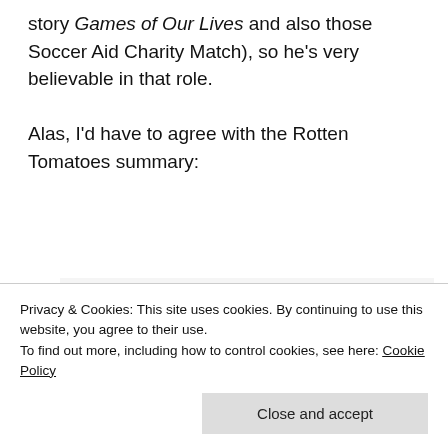story Games of Our Lives and also those Soccer Aid Charity Match), so he's very believable in that role.

Alas, I'd have to agree with the Rotten Tomatoes summary:
"Witless, unfocused, and arguably misogynistic, Playing for Keeps is a dispiritng, lowest common...
Privacy & Cookies: This site uses cookies. By continuing to use this website, you agree to their use.
To find out more, including how to control cookies, see here: Cookie Policy